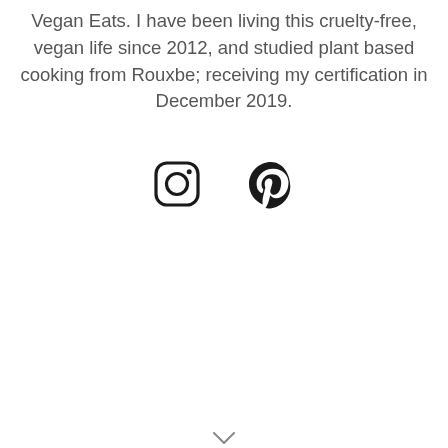Vegan Eats. I have been living this cruelty-free, vegan life since 2012, and studied plant based cooking from Rouxbe; receiving my certification in December 2019.
[Figure (other): Instagram and Pinterest social media icons (outline style)]
∨